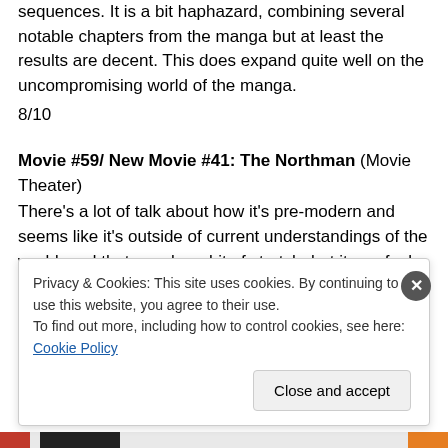sequences. It is a bit haphazard, combining several notable chapters from the manga but at least the results are decent. This does expand quite well on the uncompromising world of the manga.
8/10
Movie #59/ New Movie #41: The Northman (Movie Theater)
There's a lot of talk about how it's pre-modern and seems like it's outside of current understandings of the world, and that may be a bit of stretch, but it can feel like how someone at the time would have imagined a campfire
Privacy & Cookies: This site uses cookies. By continuing to use this website, you agree to their use.
To find out more, including how to control cookies, see here: Cookie Policy
Close and accept